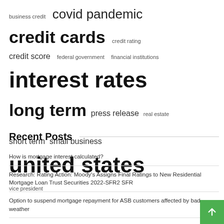[Figure (infographic): Tag cloud with finance-related terms in varying font sizes: business credit, covid pandemic, credit cards, credit rating, credit score, federal government, financial institutions, interest rates, long term, press release, real estate, short term, small business, united states, vice president]
Recent Posts
How is mortgage interest calculated?
Research: Rating Action: Moody's Assigns Final Ratings to New Residential Mortgage Loan Trust Securities 2022-SFR2 SFR
Option to suspend mortgage repayment for ASB customers affected by bad weather
How to Change Your Business Structure from a Sole Proprietorship to a